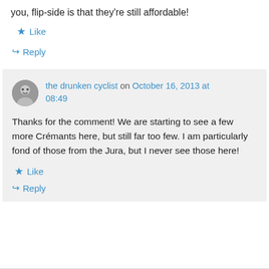you, flip-side is that they’re still affordable!
★ Like
↪ Reply
the drunken cyclist on October 16, 2013 at 08:49
Thanks for the comment! We are starting to see a few more Crémants here, but still far too few. I am particularly fond of those from the Jura, but I never see those here!
★ Like
↪ Reply